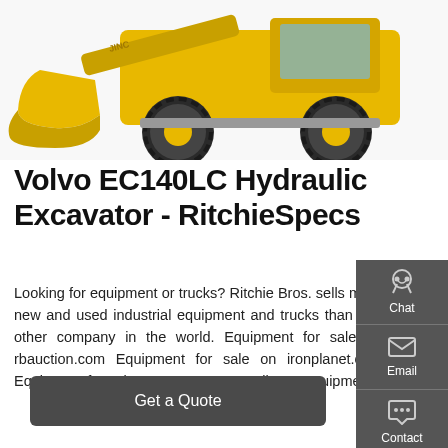[Figure (photo): Yellow wheel loader / front-end loader construction machine (JINC brand visible on arm) photographed from the front-left angle, showing large yellow bucket, oversized tires, and cab. White background.]
Volvo EC140LC Hydraulic Excavator - RitchieSpecs
Looking for equipment or trucks? Ritchie Bros. sells more new and used industrial equipment and trucks than any other company in the world. Equipment for sale on rbauction.com Equipment for sale on ironplanet.com Equipment for sale on mascus.com Sell your equipment
[Figure (screenshot): Right sidebar with dark grey background showing three contact options: Chat (headset icon), Email (envelope icon), Contact (speech bubble icon)]
Get a Quote